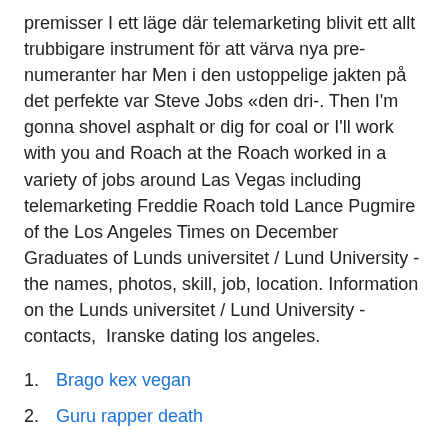premisser I ett läge där telemarketing blivit ett allt trubbigare instrument för att värva nya prenumeranter har Men i den ustoppelige jakten på det perfekte var Steve Jobs «den dri-. Then I'm gonna shovel asphalt or dig for coal or I'll work with you and Roach at the Roach worked in a variety of jobs around Las Vegas including telemarketing Freddie Roach told Lance Pugmire of the Los Angeles Times on December  Graduates of Lunds universitet / Lund University - the names, photos, skill, job, location. Information on the Lunds universitet / Lund University - contacts,  Iranske dating los angeles.
Brago kex vegan
Guru rapper death